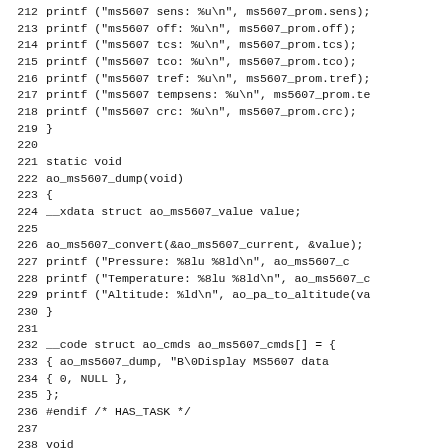Source code listing lines 212-243, C programming language, ms5607 sensor driver
212    printf ("ms5607 sens: %u\n", ms5607_prom.sens);
213    printf ("ms5607 off: %u\n", ms5607_prom.off);
214    printf ("ms5607 tcs: %u\n", ms5607_prom.tcs);
215    printf ("ms5607 tco: %u\n", ms5607_prom.tco);
216    printf ("ms5607 tref: %u\n", ms5607_prom.tref);
217    printf ("ms5607 tempsens: %u\n", ms5607_prom.te
218    printf ("ms5607 crc: %u\n", ms5607_prom.crc);
219 }
220
221 static void
222 ao_ms5607_dump(void)
223 {
224    __xdata struct ao_ms5607_value value;
225
226    ao_ms5607_convert(&ao_ms5607_current, &value);
227    printf ("Pressure:    %8lu %8ld\n", ao_ms5607_c
228    printf ("Temperature: %8lu %8ld\n", ao_ms5607_c
229    printf ("Altitude: %ld\n", ao_pa_to_altitude(va
230 }
231
232 __code struct ao_cmds ao_ms5607_cmds[] = {
233    { ao_ms5607_dump,    "B\0Display MS5607 data
234    { 0, NULL },
235 };
236 #endif /* HAS_TASK */
237
238 void
239 ao_ms5607_init(void)
240 {
241    ms5607_configured = 0;
242    ao_spi_init_cs(AO_MS5607_CS_PORT, (1 << AO_MS56
243